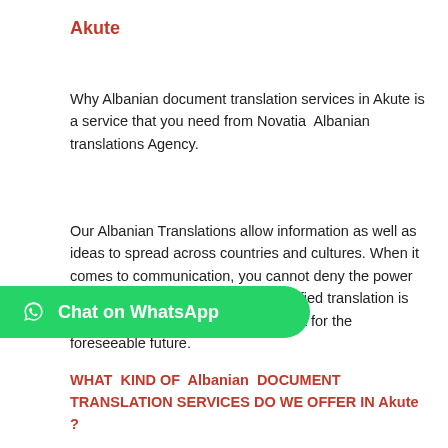Akute
Why Albanian document translation services in Akute is a service that you need from Novatia  Albanian translations Agency.
Our Albanian Translations allow information as well as ideas to spread across countries and cultures. When it comes to communication, you cannot deny the power that the English language has. Certified translation is important and it will remain important for the foreseeable future.
[Figure (other): Green WhatsApp chat button with WhatsApp logo icon and text 'Chat on WhatsApp']
WHAT  KIND OF  Albanian  DOCUMENT TRANSLATION SERVICES DO WE OFFER IN Akute ?